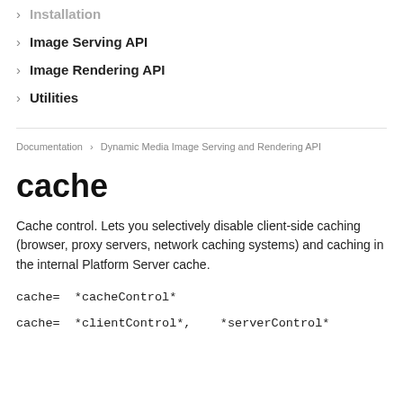Installation
Image Serving API
Image Rendering API
Utilities
Documentation > Dynamic Media Image Serving and Rendering API
cache
Cache control. Lets you selectively disable client-side caching (browser, proxy servers, network caching systems) and caching in the internal Platform Server cache.